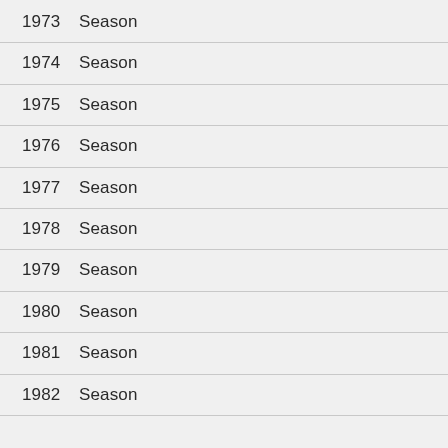1973  Season
1974  Season
1975  Season
1976  Season
1977  Season
1978  Season
1979  Season
1980  Season
1981  Season
1982  Season